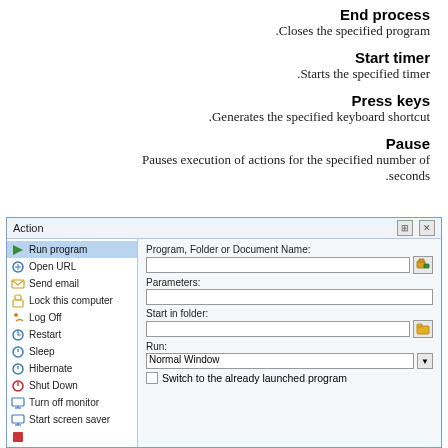End process
Closes the specified program.
Start timer
Starts the specified timer.
Press keys
Generates the specified keyboard shortcut.
Pause
Pauses execution of actions for the specified number of seconds.
[Figure (screenshot): Action dialog window showing a list of actions (Run program selected, Open URL, Send email, Lock this computer, Log Off, Restart, Sleep, Hibernate, Shut Down, Turn off monitor, Start screen saver) on the left, and fields for Program/Folder/Document Name, Parameters, Start in folder, Run dropdown (Normal Window), and Switch to the already launched program checkbox on the right.]